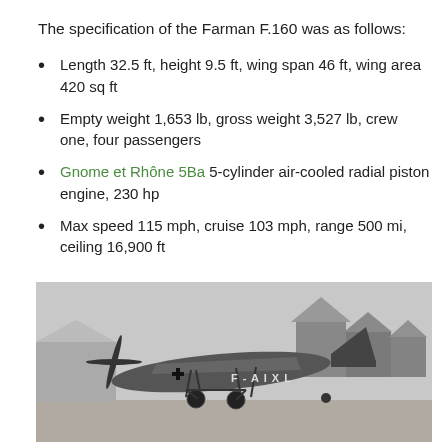The specification of the Farman F.160 was as follows:
Length 32.5 ft, height 9.5 ft, wing span 46 ft, wing area 420 sq ft
Empty weight 1,653 lb, gross weight 3,527 lb, crew one, four passengers
Gnome et Rhône 5Ba 5-cylinder air-cooled radial piston engine, 230 hp
Max speed 115 mph, cruise 103 mph, range 500 mi, ceiling 16,900 ft
[Figure (photo): Black and white photograph of the Farman F.160 aircraft on the ground, registration F-AIXL visible on the fuselage, with hangars in the background.]